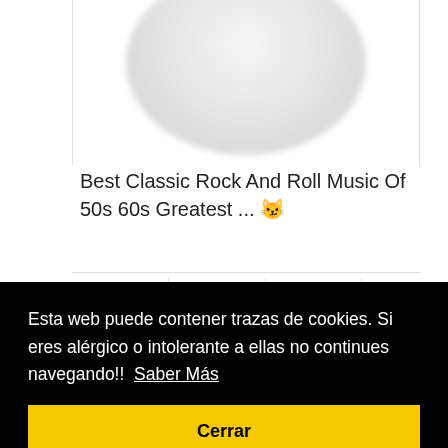[Figure (photo): Partially visible blurred circular image at the top of the page]
Best Classic Rock And Roll Music Of 50s 60s Greatest ... 😼
[Figure (infographic): Row of social media share buttons: Facebook (blue), Twitter (light blue), WhatsApp (green), Pinterest (red)]
Esta web puede contener trazas de cookies. Si eres alérgico o intolerante a ellas no continues navegando!!  Saber Más
Cerrar
[Figure (photo): Partially visible photo at the bottom right of the page, appears to be a night scene with blue tones]